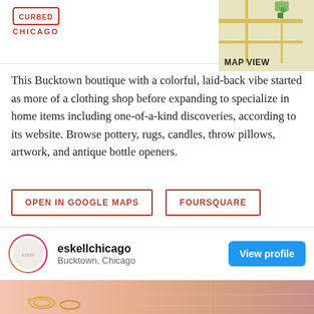CURBED CHICAGO
This Bucktown boutique with a colorful, laid-back vibe started as more of a clothing shop before expanding to specialize in home items including one-of-a-kind discoveries, according to its website. Browse pottery, rugs, candles, throw pillows, artwork, and antique bottle openers.
OPEN IN GOOGLE MAPS
FOURSQUARE
Eskell, 2029 N Western Ave, Chicago, IL 60647
(773) 486-0830
Visit Website
eskellchicago
Bucktown, Chicago
View profile
[Figure (photo): Bottom strip showing shop items including jewelry on a pinkish/warm background]